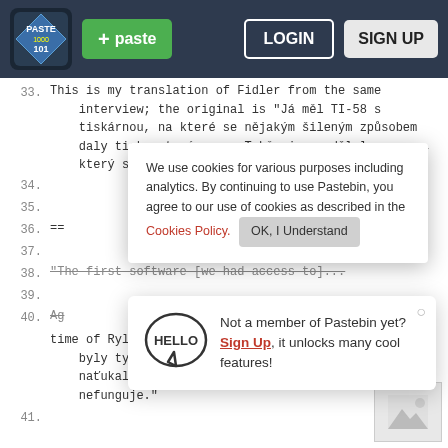[Figure (screenshot): Pastebin website screenshot showing navigation bar with logo, paste button, login and sign up buttons, code content with line numbers, a cookie consent overlay, and a sign-up popup]
+ paste  LOGIN  SIGN UP
33.  This is my translation of Fidler from the same interview; the original is "Já měl TI-58 s tiskárnou, na které se nějakým šileným způsobem daly tisknout písmena. Takže jsem udělal program, který skládal věty ze slov."
34.
35.
36. ==
37.
38. "The first software [we had access to]..."
39.
40. Ag
time of Rylek. Original is: "První software přece byly ty listingy programů v časopisech. Člověk to naťukal do počítače a divil se, proč to nefunguje."
41.
We use cookies for various purposes including analytics. By continuing to use Pastebin, you agree to our use of cookies as described in the Cookies Policy.  OK, I Understand
Not a member of Pastebin yet? Sign Up, it unlocks many cool features!